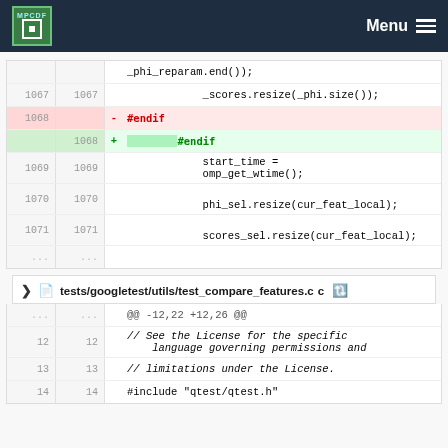MPCDF   Menu
[Figure (screenshot): Code diff showing lines 1067-1071 with deletion of '#endif' at line 1068 and addition of indented '#endif', plus lines for start_time = omp_get_wtime(), phi_sel.resize(cur_feat_local), scores_sel.resize(cur_feat_local)]
tests/googletest/utils/test_compare_features.cc
[Figure (screenshot): Code diff showing @@ -12,22 +12,26 @@ with lines 12-14: // See the License for the specific language governing permissions and // limitations under the License. #include "qtest/qtest.h"]